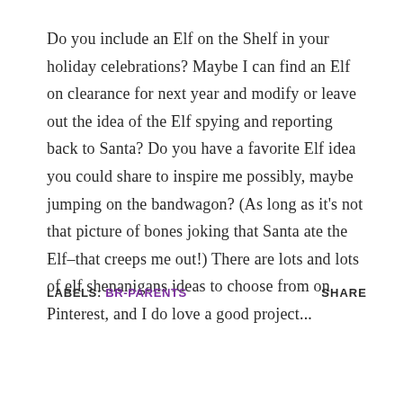Do you include an Elf on the Shelf in your holiday celebrations? Maybe I can find an Elf on clearance for next year and modify or leave out the idea of the Elf spying and reporting back to Santa? Do you have a favorite Elf idea you could share to inspire me possibly, maybe jumping on the bandwagon? (As long as it's not that picture of bones joking that Santa ate the Elf–that creeps me out!) There are lots and lots of elf shenanigans ideas to choose from on Pinterest, and I do love a good project...
LABELS: BR-PARENTS   SHARE